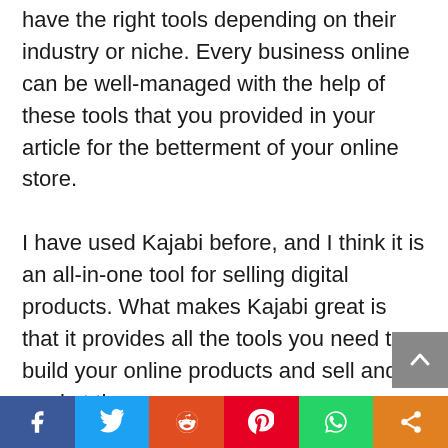have the right tools depending on their industry or niche. Every business online can be well-managed with the help of these tools that you provided in your article for the betterment of your online store.
I have used Kajabi before, and I think it is an all-in-one tool for selling digital products. What makes Kajabi great is that it provides all the tools you need to build your online products and sell and market them,
I also think that using a photo editing tool